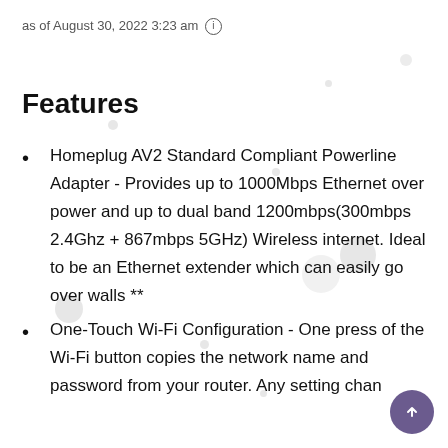as of August 30, 2022 3:23 am ⓘ
Features
Homeplug AV2 Standard Compliant Powerline Adapter - Provides up to 1000Mbps Ethernet over power and up to dual band 1200mbps(300mbps 2.4Ghz + 867mbps 5GHz) Wireless internet. Ideal to be an Ethernet extender which can easily go over walls **
One-Touch Wi-Fi Configuration - One press of the Wi-Fi button copies the network name and password from your router. Any setting changes